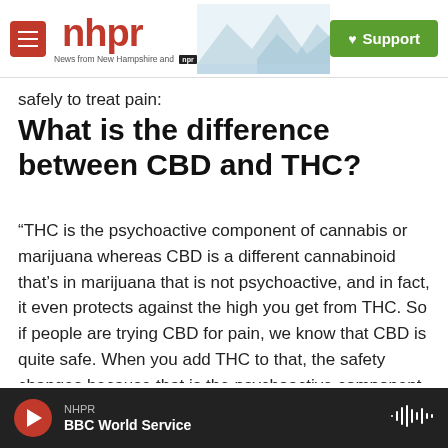nhpr — News from New Hampshire and NPR | Support
safely to treat pain:
What is the difference between CBD and THC?
“THC is the psychoactive component of cannabis or marijuana whereas CBD is a different cannabinoid that’s in marijuana that is not psychoactive, and in fact, it even protects against the high you get from THC. So if people are trying CBD for pain, we know that CBD is quite safe. When you add THC to that, the safety changes because that is the psychoactive component of
NHPR | BBC World Service